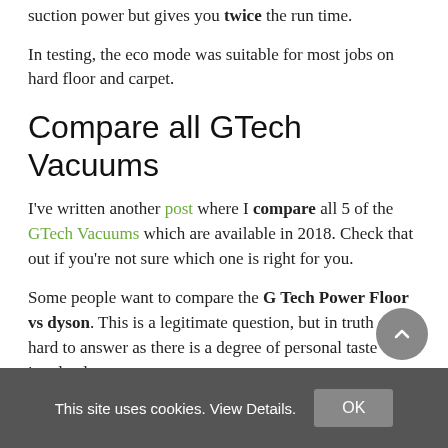suction power but gives you twice the run time.
In testing, the eco mode was suitable for most jobs on hard floor and carpet.
Compare all GTech Vacuums
I've written another post where I compare all 5 of the GTech Vacuums which are available in 2018. Check that out if you're not sure which one is right for you.
Some people want to compare the G Tech Power Floor vs dyson. This is a legitimate question, but in truth quite hard to answer as there is a degree of personal taste involved.
This site uses cookies. View Details. OK